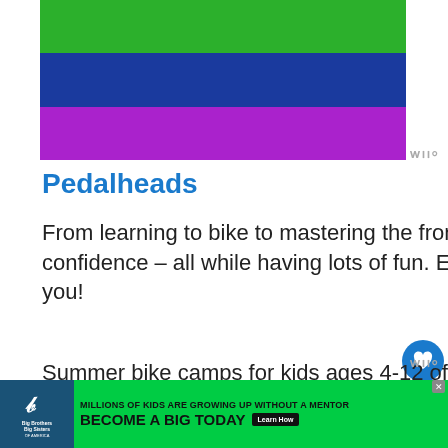[Figure (illustration): Colored horizontal stripe image with green, blue, and purple bands]
Pedalheads
From learning to bike to mastering the front crawl, Pedalheads kids grow their skills and confidence – all while having lots of fun. Explore our activities and find a program near you!
Summer bike camps for kids ages 4-12 offering a fun, safe cycling program, specialized equipment and incredible